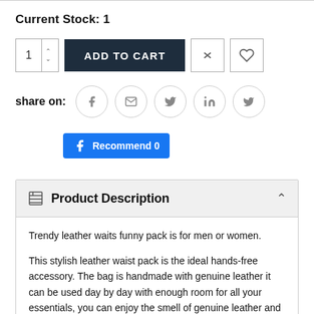Current Stock: 1
[Figure (screenshot): Quantity selector box showing '1' with up/down arrows, an 'ADD TO CART' dark button, a compare icon button, and a heart/wishlist icon button]
share on: [facebook] [email] [twitter] [linkedin] [pinterest]
[Figure (screenshot): Facebook Recommend 0 button in blue]
Product Description
Trendy leather waits funny pack is for men or women.
This stylish leather waist pack is the ideal hands-free accessory. The bag is handmade with genuine leather it can be used day by day with enough room for all your essentials, you can enjoy the smell of genuine leather and